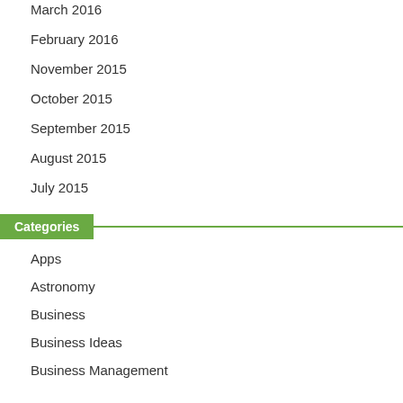March 2016
February 2016
November 2015
October 2015
September 2015
August 2015
July 2015
Categories
Apps
Astronomy
Business
Business Ideas
Business Management